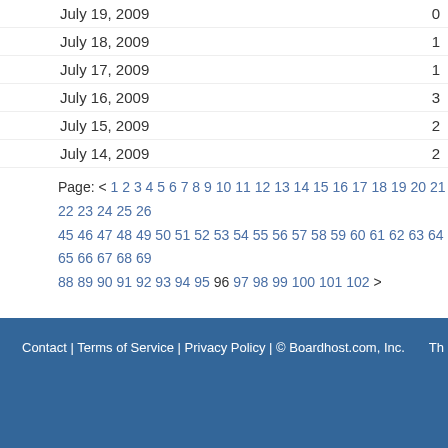July 19, 2009  0
July 18, 2009  1
July 17, 2009  1
July 16, 2009  3
July 15, 2009  2
July 14, 2009  2
Page: < 1 2 3 4 5 6 7 8 9 10 11 12 13 14 15 16 17 18 19 20 21 22 23 24 25 26 ... 45 46 47 48 49 50 51 52 53 54 55 56 57 58 59 60 61 62 63 64 65 66 67 68 69 7... 88 89 90 91 92 93 94 95 96 97 98 99 100 101 102 >
Contact | Terms of Service | Privacy Policy | © Boardhost.com, Inc.  Th...